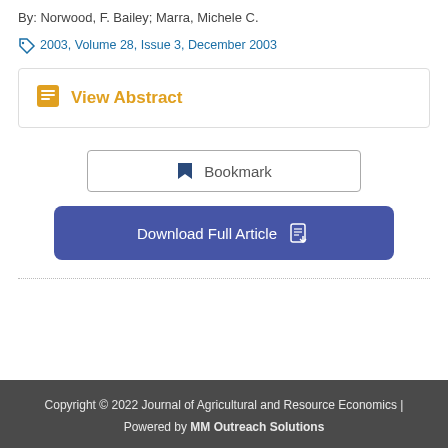By: Norwood, F. Bailey; Marra, Michele C.
2003, Volume 28, Issue 3, December 2003
View Abstract
Bookmark
Download Full Article
Copyright © 2022 Journal of Agricultural and Resource Economics | Powered by MM Outreach Solutions